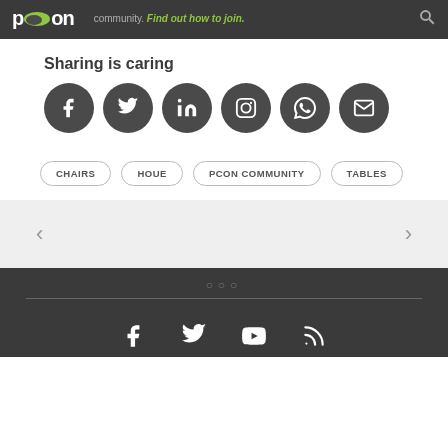pcon — community. Find out how to join.
Sharing is caring
[Figure (infographic): Six dark circular social media share buttons: Facebook, Twitter, LinkedIn, Instagram, WhatsApp, Email]
CHAIRS
HOUE
PCON COMMUNITY
TABLES
[Figure (infographic): Carousel navigation area with left and right arrow buttons on a light grey background]
ooo — footer with Facebook, Twitter, YouTube, RSS icons